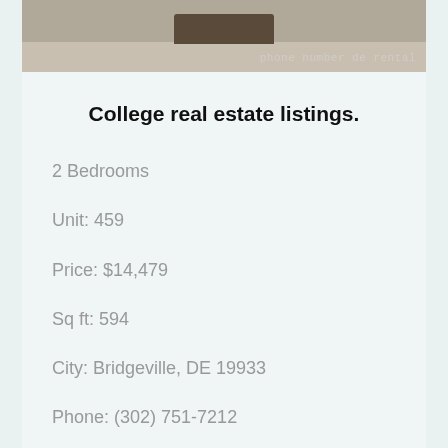[Figure (photo): Partial photo of a room with wooden floor and dark furniture, overlaid with text 'phone number de rental']
College real estate listings.
2 Bedrooms
Unit: 459
Price: $14,479
Sq ft: 594
City: Bridgeville, DE 19933
Phone: (302) 751-7212